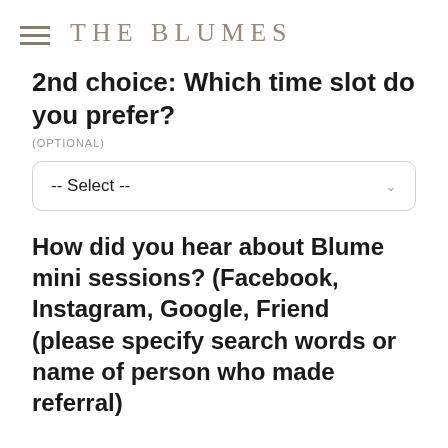THE BLUMES
2nd choice: Which time slot do you prefer?
(OPTIONAL)
-- Select --
How did you hear about Blume mini sessions? (Facebook, Instagram, Google, Friend (please specify search words or name of person who made referral)